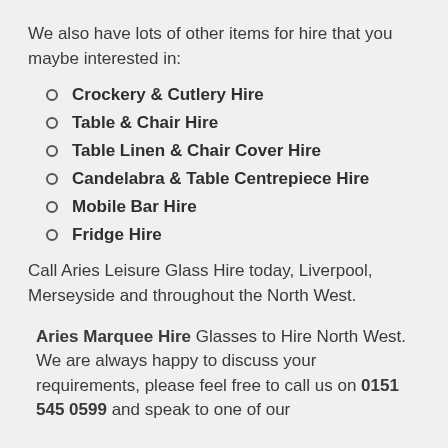We also have lots of other items for hire that you maybe interested in:
Crockery & Cutlery Hire
Table & Chair Hire
Table Linen & Chair Cover Hire
Candelabra & Table Centrepiece Hire
Mobile Bar Hire
Fridge Hire
Call Aries Leisure Glass Hire today, Liverpool, Merseyside and throughout the North West.
Aries Marquee Hire Glasses to Hire North West. We are always happy to discuss your requirements, please feel free to call us on 0151 545 0599 and speak to one of our